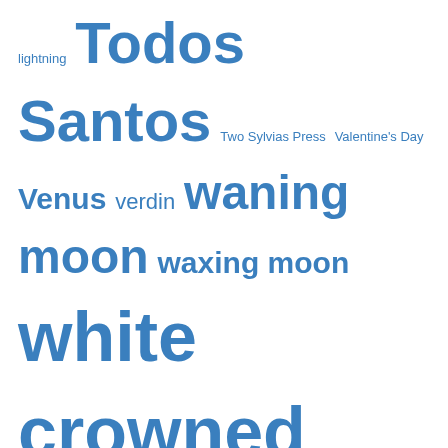lightning Todos Santos Two Sylvias Press Valentine's Day Venus verdin waning moon waxing moon white crowned sparrows writing contests writing retreat
Archives
June 2022 (1)
May 2022 (1)
April 2022 (9)
March 2022 (19)
February 2022 (8)
January 2022 (4)
December 2021 (2)
October 2021 (3)
August 2021 (1)